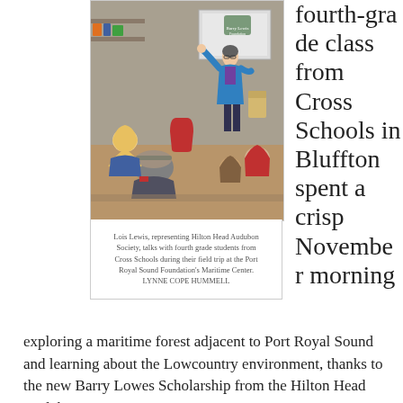[Figure (photo): A woman in a blue jacket stands at the front of a classroom/learning center, gesturing while speaking to a group of children seated at tables. A projection screen is visible behind her.]
Lois Lewis, representing Hilton Head Audubon Society, talks with fourth grade students from Cross Schools during their field trip at the Port Royal Sound Foundation's Maritime Center. LYNNE COPE HUMMELL
fourth-grade class from Cross Schools in Bluffton spent a crisp November morning exploring a maritime forest adjacent to Port Royal Sound and learning about the Lowcountry environment, thanks to the new Barry Lowes Scholarship from the Hilton Head Audubon Society.